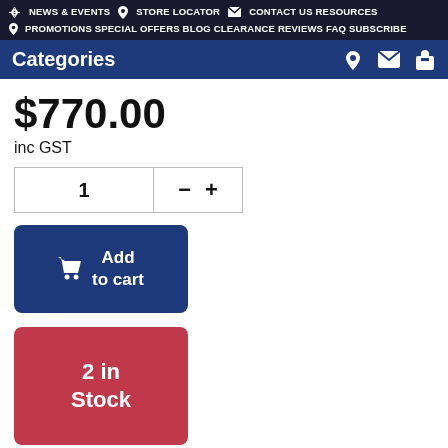NEWS & EVENTS  STORE LOCATOR  CONTACT US RESOURCES  PROMOTIONS SPECIAL OFFERS BLOG CLEARANCE REVIEWS FAQ SUBSCRIBE
Categories
$770.00
inc GST
1  −  +
Add to cart
2 in Stock
[Figure (infographic): FREE DELIVERY On orders over A$150 or Brisbane A$30 | ORDER BY 1PM for same day dispatch]
Description